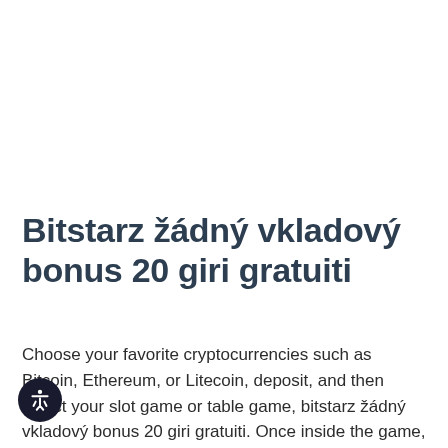Bitstarz žádný vkladový bonus 20 giri gratuiti
Choose your favorite cryptocurrencies such as Bitcoin, Ethereum, or Litecoin, deposit, and then select your slot game or table game, bitstarz žádný vkladový bonus 20 giri gratuiti. Once inside the game, you will need to choose the wager you wish to make, and then you can start playing and enjoying our bitcoin casino experience. The bitcoin casino game